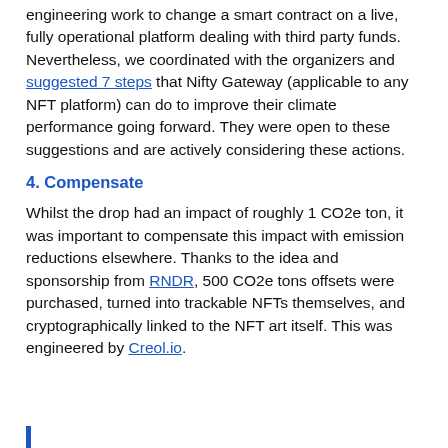engineering work to change a smart contract on a live, fully operational platform dealing with third party funds. Nevertheless, we coordinated with the organizers and suggested 7 steps that Nifty Gateway (applicable to any NFT platform) can do to improve their climate performance going forward. They were open to these suggestions and are actively considering these actions.
4. Compensate
Whilst the drop had an impact of roughly 1 CO2e ton, it was important to compensate this impact with emission reductions elsewhere. Thanks to the idea and sponsorship from RNDR, 500 CO2e tons offsets were purchased, turned into trackable NFTs themselves, and cryptographically linked to the NFT art itself. This was engineered by Creol.io.